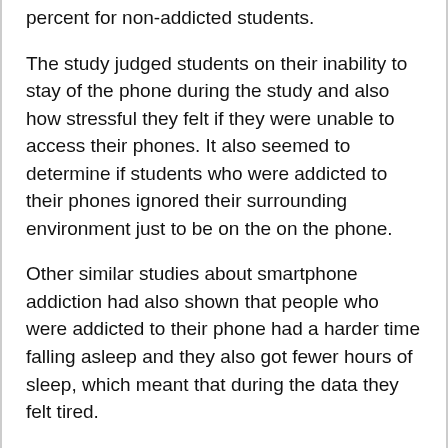percent for non-addicted students.
The study judged students on their inability to stay of the phone during the study and also how stressful they felt if they were unable to access their phones. It also seemed to determine if students who were addicted to their phones ignored their surrounding environment just to be on the on the phone.
Other similar studies about smartphone addiction had also shown that people who were addicted to their phone had a harder time falling asleep and they also got fewer hours of sleep, which meant that during the data they felt tired.
The results of the study by King's College London was not surprising, considering the amount of time the pandemic has made available for students to be on the internet. Finding connections with loved ones has also been very difficult during the pandemic, along a social aspect, and